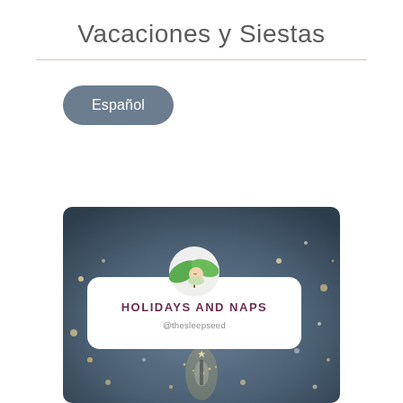Vacaciones y Siestas
Español
[Figure (illustration): Cover image with sparkler bokeh background and a white card overlay showing 'HOLIDAYS AND NAPS' in bold maroon text with '@thesleepseed' below it, and a circular logo of a sleeping baby in a leaf above the card.]